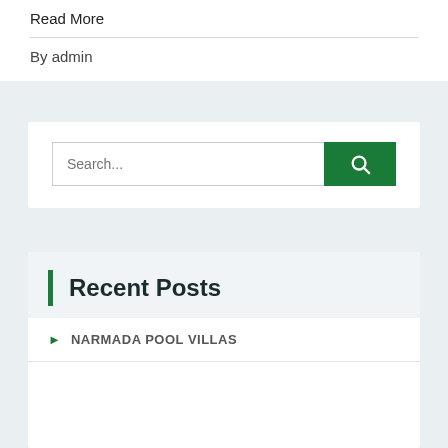Read More
By admin
Search...
Recent Posts
NARMADA POOL VILLAS